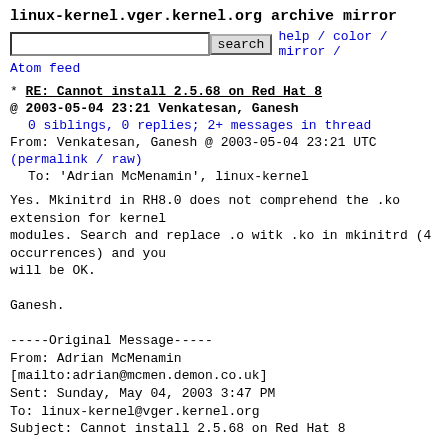linux-kernel.vger.kernel.org archive mirror
search   help / color / mirror / Atom feed
* RE: Cannot install 2.5.68 on Red Hat 8
@ 2003-05-04 23:21 Venkatesan, Ganesh
0 siblings, 0 replies; 2+ messages in thread
From: Venkatesan, Ganesh @ 2003-05-04 23:21 UTC
(permalink / raw)
To: 'Adrian McMenamin', linux-kernel
Yes. Mkinitrd in RH8.0 does not comprehend the .ko extension for kernel
modules. Search and replace .o witk .ko in mkinitrd (4 occurrences) and you
will be OK.

Ganesh.

-----Original Message-----
From: Adrian McMenamin
[mailto:adrian@mcmen.demon.co.uk]
Sent: Sunday, May 04, 2003 3:47 PM
To: linux-kernel@vger.kernel.org
Subject: Cannot install 2.5.68 on Red Hat 8

I have been trying to install 2.5.68 on an SMP box running a fairly bog
standard Red Hat 8 distro.